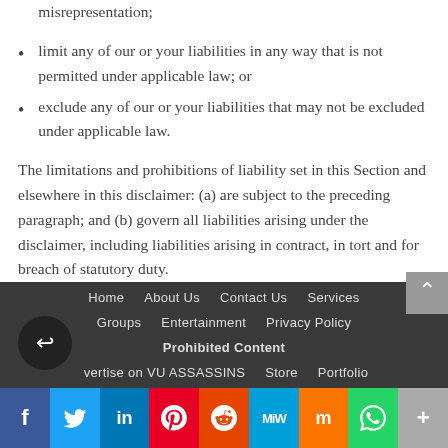misrepresentation;
limit any of our or your liabilities in any way that is not permitted under applicable law; or
exclude any of our or your liabilities that may not be excluded under applicable law.
The limitations and prohibitions of liability set in this Section and elsewhere in this disclaimer: (a) are subject to the preceding paragraph; and (b) govern all liabilities arising under the disclaimer, including liabilities arising in contract, in tort and for breach of statutory duty.
As long as the website and the information and services on the website are provided free of charge, we will not be liable for any loss or damage of any nature.
Home | About Us | Contact Us | Services | Groups | Entertainment | Privacy Policy | Prohibited Content | Advertise on VU ASSASSINS | Store | Portfolio